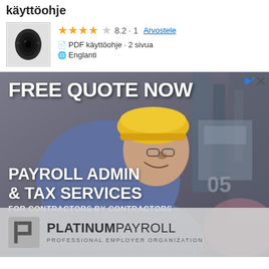käyttöohje
★★★★☆ 8.2 · 1 Arvostele
PDF käyttöohje · 2 sivua
Englanti
[Figure (photo): Advertisement banner for Platinum Payroll. Shows a construction worker in yellow hard hat and blue shirt bending over equipment. Text reads: FREE QUOTE NOW, PAYROLL ADMIN & TAX SERVICES, FOR CONTRACTORS BY CONTRACTORS. Logo at bottom: PLATINUMPAYROLL - PROFESSIONAL EMPLOYER ORGANIZATION. Small ad badge with play and X icons in top right corner.]